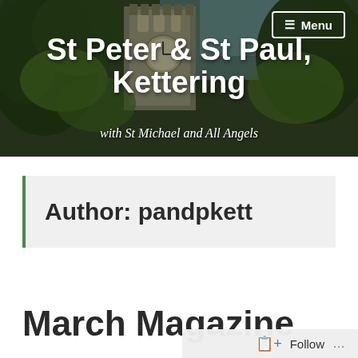[Figure (photo): Photograph of a church tower (St Peter & St Paul, Kettering) seen through trees, with a dark moody sky and greenery framing the stone bell tower.]
St Peter & St Paul, Kettering
with St Michael and All Angels
Author: pandpkett
March Magazine
Follow